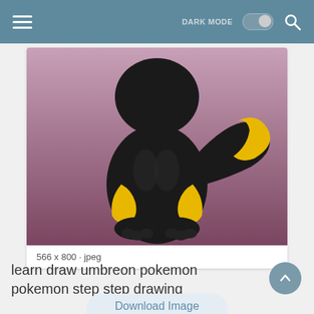DARK MODE [toggle] [search]
[Figure (illustration): Digital illustration of Umbreon (a black cat-like Pokemon) seen from behind, sitting, with yellow ring markings on its body and a striped tail, on a pink-purple background]
566 x 800 · jpeg
learn draw umbreon pokemon pokemon step step drawing
Download Image